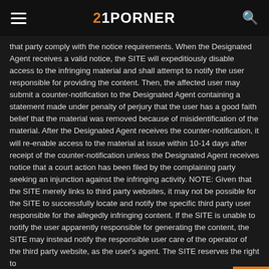21PORNER
that party comply with the notice requirements. When the Designated Agent receives a valid notice, the SITE will expeditiously disable access to the infringing material and shall attempt to notify the user responsible for providing the content. Then, the affected user may submit a counter-notification to the Designated Agent containing a statement made under penalty of perjury that the user has a good faith belief that the material was removed because of misidentification of the material. After the Designated Agent receives the counter-notification, it will re-enable access to the material at issue within 10-14 days after receipt of the counter-notification unless the Designated Agent receives notice that a court action has been filed by the complaining party seeking an injunction against the infringing activity. NOTE: Given that the SITE merely links to third party websites, it may not be possible for the SITE to successfully locate and notify the specific third party user responsible for the allegedly infringing content. If the SITE is unable to notify the user apparently responsible for generating the content, the SITE may instead notify the responsible user care of the operator of the third party website, as the user's agent. The SITE reserves the right to